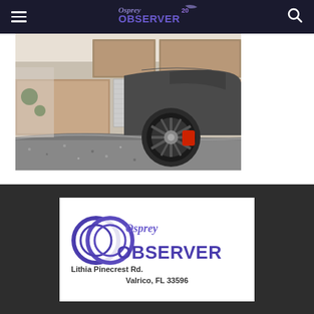Osprey Observer 20 - navigation bar with hamburger menu and search icon
[Figure (photo): Interior garage photo showing a dark sports car (Porsche) with red brake calipers and a speckled floor, with wood-paneled storage cabinets in the background]
[Figure (logo): Osprey Observer logo with two overlapping O letters in purple/blue, text reading 'Osprey Observer', address '2109 Lithia Pinecrest Rd. Valrico, FL 33596']
2109 Lithia Pinecrest Rd. Valrico, FL 33596